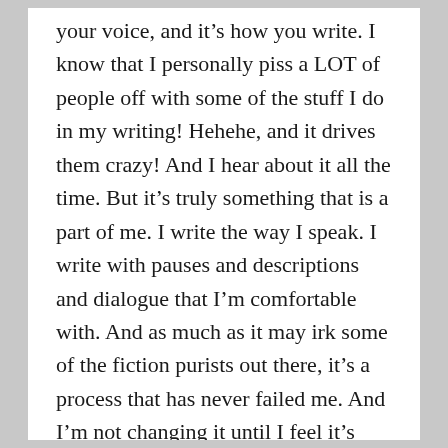your voice, and it's how you write. I know that I personally piss a LOT of people off with some of the stuff I do in my writing! Hehehe, and it drives them crazy! And I hear about it all the time. But it's truly something that is a part of me. I write the way I speak. I write with pauses and descriptions and dialogue that I'm comfortable with. And as much as it may irk some of the fiction purists out there, it's a process that has never failed me. And I'm not changing it until I feel it's hurting the quality of my work. I've personalized it. It's